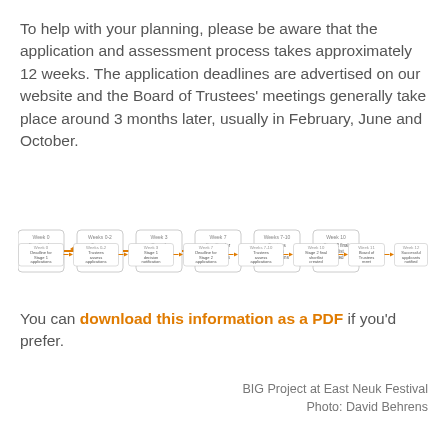To help with your planning, please be aware that the application and assessment process takes approximately 12 weeks. The application deadlines are advertised on our website and the Board of Trustees' meetings generally take place around 3 months later, usually in February, June and October.
[Figure (flowchart): 8-stage process flowchart: Week 0 Deadline for Stage 1 applications → Weeks 0-2 Trustees assess applications → Week 3 Stage 1 decision notification → Week 7 Deadline for Stage 2 applications → Weeks 7-10 Trustees assess applications → Week 10 Stage 2 final shortlist created → Week 11 Board of Trustees meet → Week 12 Successful applicants notified. Arrows between boxes are orange.]
You can download this information as a PDF if you'd prefer.
BIG Project at East Neuk Festival
Photo: David Behrens